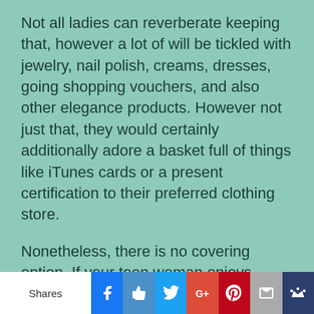Not all ladies can reverberate keeping that, however a lot of will be tickled with jewelry, nail polish, creams, dresses, going shopping vouchers, and also other elegance products. However not just that, they would certainly additionally adore a basket full of things like iTunes cards or a present certification to their preferred clothing store.
Nonetheless, there is no covering option. If your teen woman enjoys sports, get them that as well as if your teenage child adores garments, go with those also. It’s all about making them satisfied.
For friends
[Figure (infographic): Social media sharing bar with Shares label and buttons for Facebook, Like (thumbs up), Twitter, Google+, Pinterest, Mail, and a crown/misc button]